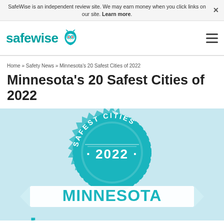SafeWise is an independent review site. We may earn money when you click links on our site. Learn more.
[Figure (logo): SafeWise logo with owl icon in teal]
Home » Safety News » Minnesota's 20 Safest Cities of 2022
Minnesota's 20 Safest Cities of 2022
[Figure (illustration): Teal badge/seal graphic with text 'SAFEST CITIES 2022' and a ribbon banner with 'MINNESOTA']